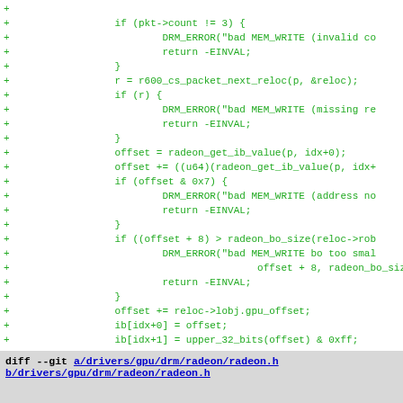Code diff showing additions to radeon GPU driver: MEM_WRITE packet handling including count check, relocation, offset calculations, bounds checking, and PACKET3_COPY_DW case.
diff --git a/drivers/gpu/drm/radeon/radeon.h b/drivers/gpu/drm/radeon/radeon.h